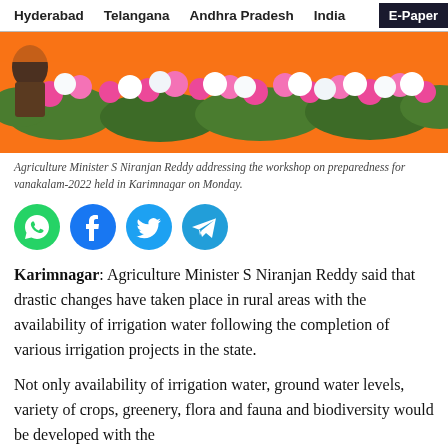Hyderabad   Telangana   Andhra Pradesh   India   E-Paper
[Figure (photo): Photograph of flowers (pink and white carnations) at a workshop event]
Agriculture Minister S Niranjan Reddy addressing the workshop on preparedness for vanakalam-2022 held in Karimnagar on Monday.
[Figure (infographic): Four social media share icons: WhatsApp (green), Facebook (dark blue), Twitter (light blue), Telegram (blue)]
Karimnagar: Agriculture Minister S Niranjan Reddy said that drastic changes have taken place in rural areas with the availability of irrigation water following the completion of various irrigation projects in the state.
Not only availability of irrigation water, ground water levels, variety of crops, greenery, flora and fauna and biodiversity would be developed with the